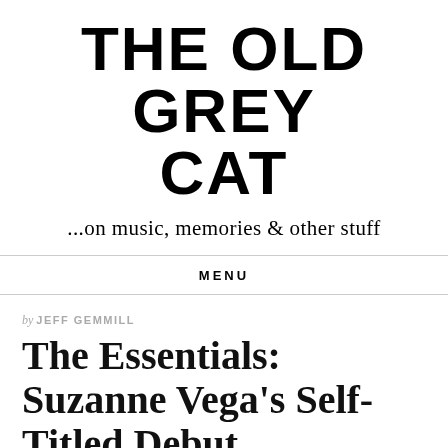THE OLD GREY CAT
...on music, memories & other stuff
MENU
by JEFF GEMMILL
The Essentials: Suzanne Vega's Self-Titled Debut